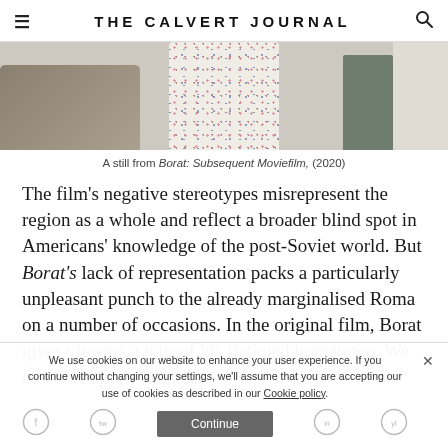THE CALVERT JOURNAL
[Figure (photo): A still from Borat: Subsequent Moviefilm showing a person in a floral dress standing near a door, with a sofa to the left and a whitewashed wall in the background.]
A still from Borat: Subsequent Moviefilm, (2020)
The film's negative stereotypes misrepresent the region as a whole and reflect a broader blind spot in Americans' knowledge of the post-Soviet world. But Borat's lack of representation packs a particularly unpleasant punch to the already marginalised Roma on a number of occasions. In the original film, Borat gives viewers a tour of his fictional hometown. We meet his sister, Natalya,
We use cookies on our website to enhance your user experience. If you continue without changing your settings, we'll assume that you are accepting our use of cookies as described in our Cookie policy.